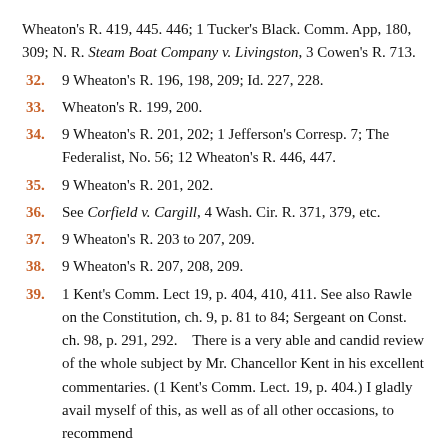Wheaton's R. 419, 445. 446; 1 Tucker's Black. Comm. App, 180, 309; N. R. Steam Boat Company v. Livingston, 3 Cowen's R. 713.
32.   9 Wheaton's R. 196, 198, 209; Id. 227, 228.
33.   Wheaton's R. 199, 200.
34.   9 Wheaton's R. 201, 202; 1 Jefferson's Corresp. 7; The Federalist, No. 56; 12 Wheaton's R. 446, 447.
35.   9 Wheaton's R. 201, 202.
36.   See Corfield v. Cargill, 4 Wash. Cir. R. 371, 379, etc.
37.   9 Wheaton's R. 203 to 207, 209.
38.   9 Wheaton's R. 207, 208, 209.
39.   1 Kent's Comm. Lect 19, p. 404, 410, 411. See also Rawle on the Constitution, ch. 9, p. 81 to 84; Sergeant on Const. ch. 98, p. 291, 292.    There is a very able and candid review of the whole subject by Mr. Chancellor Kent in his excellent commentaries. (1 Kent's Comm. Lect. 19, p. 404.) I gladly avail myself of this, as well as of all other occasions, to recommend